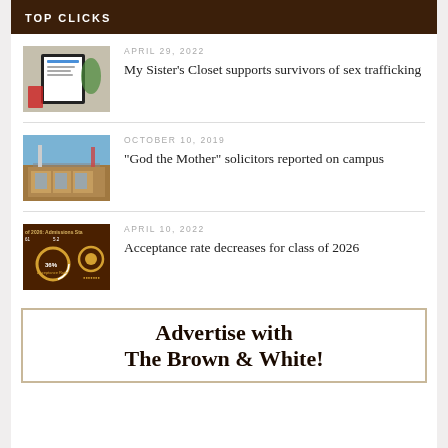TOP CLICKS
[Figure (photo): Framed certificate or award on a desk with a plant in the background]
APRIL 29, 2022
My Sister’s Closet supports survivors of sex trafficking
[Figure (photo): Exterior of Lehigh University building with blue sky]
OCTOBER 10, 2019
“God the Mother” solicitors reported on campus
[Figure (photo): Brown and gold infographic about class of 2026 admissions statistics showing 36% acceptance rate]
APRIL 10, 2022
Acceptance rate decreases for class of 2026
Advertise with The Brown & White!